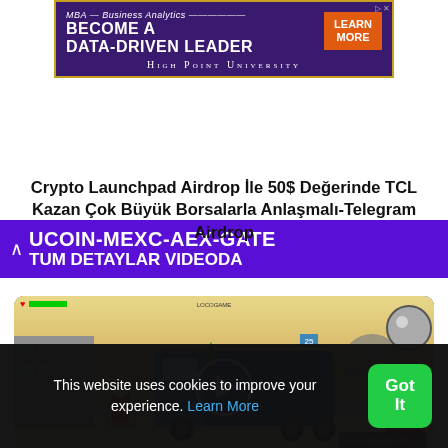[Figure (screenshot): Advertisement banner for MBA - Business Analytics at High Point University. Purple background with gold border. Text: MBA – Business Analytics, BECOME A DATA-DRIVEN LEADER. Orange button: LEARN MORE. High Point University logo text at bottom.]
[Figure (screenshot): Purple navigation bar with white up arrow and text: UCOIN-MEXC-AEX-GATE on first line, TUM DETAYLAR VIDEODA on second line (partially visible).]
Crypto Launchpad Airdrop İle 50$ Değerinde TCL Kazan Çok Büyük Borsalarla Anlaşmalı-Telegram Airdrop
[Figure (screenshot): Video thumbnail showing a Roblox-style game scene with a blue truck and Christmas decorations, game HUD elements, play button overlay in center. Dark tablet frame around the image.]
This website uses cookies to improve your experience. Learn More
Got It